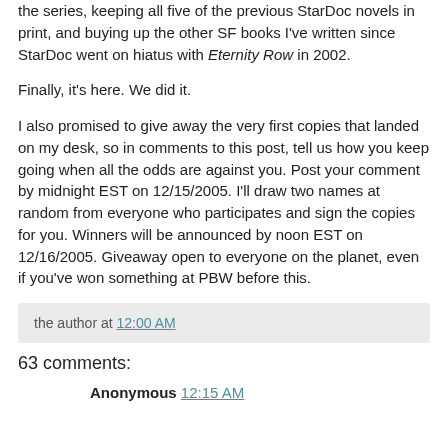since my readers did their part by spreading the word about the series, keeping all five of the previous StarDoc novels in print, and buying up the other SF books I've written since StarDoc went on hiatus with Eternity Row in 2002.
Finally, it's here. We did it.
I also promised to give away the very first copies that landed on my desk, so in comments to this post, tell us how you keep going when all the odds are against you. Post your comment by midnight EST on 12/15/2005. I'll draw two names at random from everyone who participates and sign the copies for you. Winners will be announced by noon EST on 12/16/2005. Giveaway open to everyone on the planet, even if you've won something at PBW before this.
the author at 12:00 AM
63 comments:
Anonymous 12:15 AM